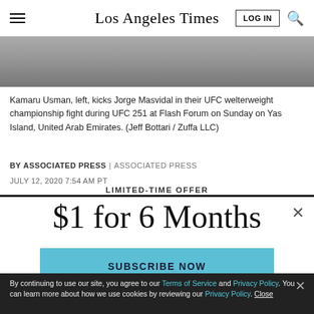Los Angeles Times
[Figure (photo): Partial photo of UFC fighters Kamaru Usman and Jorge Masvidal at UFC 251]
Kamaru Usman, left, kicks Jorge Masvidal in their UFC welterweight championship fight during UFC 251 at Flash Forum on Sunday on Yas Island, United Arab Emirates. (Jeff Bottari / Zuffa LLC)
BY ASSOCIATED PRESS | ASSOCIATED PRESS
JULY 12, 2020 7:54 AM PT
LIMITED-TIME OFFER
$1 for 6 Months
SUBSCRIBE NOW
By continuing to use our site, you agree to our Terms of Service and Privacy Policy. You can learn more about how we use cookies by reviewing our Privacy Policy. Close